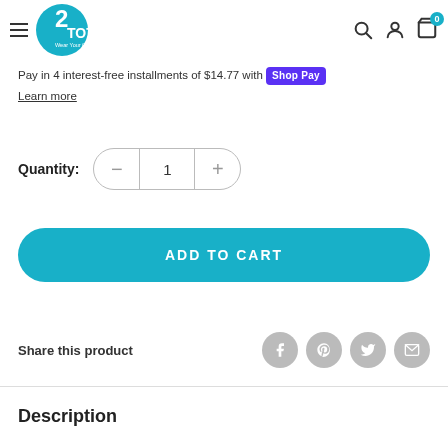2TOTES — Wear Your Oxygen with Style
Pay in 4 interest-free installments of $14.77 with Shop Pay
Learn more
Quantity: 1
ADD TO CART
Share this product
Description